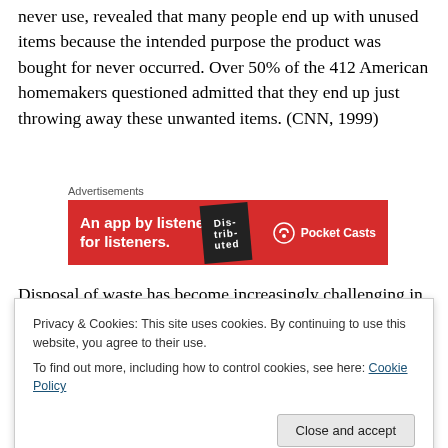never use, revealed that many people end up with unused items because the intended purpose the product was bought for never occurred. Over 50% of the 412 American homemakers questioned admitted that they end up just throwing away these unwanted items. (CNN, 1999)
[Figure (other): Advertisement banner for Pocket Casts app. Red background with white text: 'An app by listeners, for listeners.' Shows a stylized phone/book image and the Pocket Casts logo.]
Disposal of waste has become increasingly challenging in recent years, partly as a result of the growth of consumer
Privacy & Cookies: This site uses cookies. By continuing to use this website, you agree to their use.
To find out more, including how to control cookies, see here: Cookie Policy
sustainable methods of disposal which involves